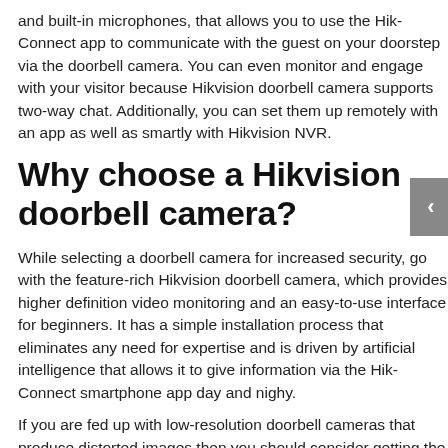and built-in microphones, that allows you to use the Hik-Connect app to communicate with the guest on your doorstep via the doorbell camera. You can even monitor and engage with your visitor because Hikvision doorbell camera supports two-way chat. Additionally, you can set them up remotely with an app as well as smartly with Hikvision NVR.
Why choose a Hikvision doorbell camera?
While selecting a doorbell camera for increased security, go with the feature-rich Hikvision doorbell camera, which provides higher definition video monitoring and an easy-to-use interface for beginners. It has a simple installation process that eliminates any need for expertise and is driven by artificial intelligence that allows it to give information via the Hik-Connect smartphone app day and nighy.
If you are fed up with low-resolution doorbell cameras that produce distorted images then you should consider getting the Hikvision doorbell camera to protect your home. Thanks to its high resolution footage, you can clearly see people, objects, and